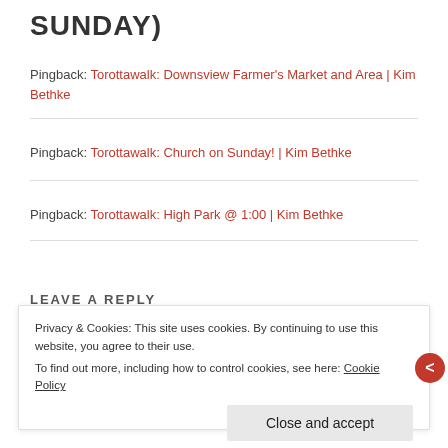SUNDAY)
Pingback: Torottawalk: Downsview Farmer's Market and Area | Kim Bethke
Pingback: Torottawalk: Church on Sunday! | Kim Bethke
Pingback: Torottawalk: High Park @ 1:00 | Kim Bethke
LEAVE A REPLY
Privacy & Cookies: This site uses cookies. By continuing to use this website, you agree to their use. To find out more, including how to control cookies, see here: Cookie Policy